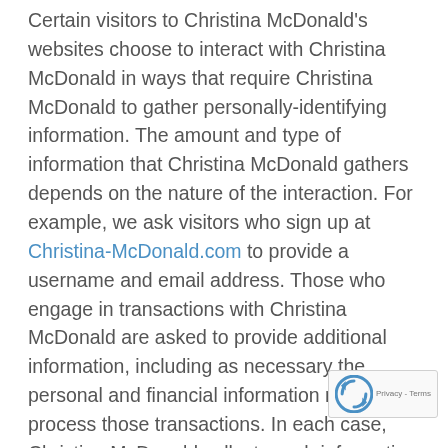Certain visitors to Christina McDonald's websites choose to interact with Christina McDonald in ways that require Christina McDonald to gather personally-identifying information. The amount and type of information that Christina McDonald gathers depends on the nature of the interaction. For example, we ask visitors who sign up at Christina-McDonald.com to provide a username and email address. Those who engage in transactions with Christina McDonald are asked to provide additional information, including as necessary the personal and financial information required to process those transactions. In each case, Christina McDonald collects such information only insofar as is necessary or appropriate to fulfill the purpose of the visitor's interaction with Christina McDonald. Christina McDonald does not disclose personally-identifying information other